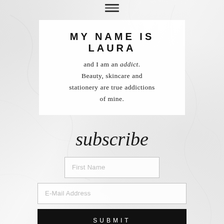[Figure (other): Hamburger menu icon (three horizontal lines) centered at top of page]
MY NAME IS LAURA
and I am an addict. Beauty, skincare and stationery are true addictions of mine.
subscribe
First Name
E-Mail Address
SUBMIT